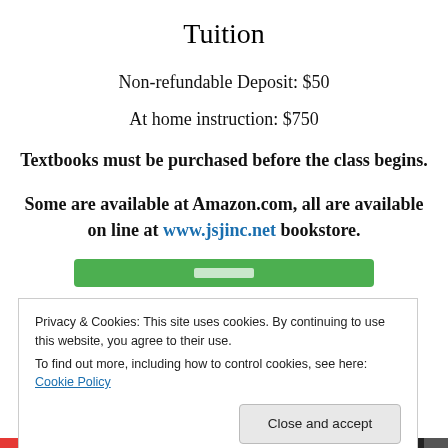Tuition
Non-refundable Deposit: $50
At home instruction:  $750
Textbooks must be purchased before the class begins.
Some are available at Amazon.com, all are available on line at www.jsjinc.net bookstore.
Privacy & Cookies: This site uses cookies. By continuing to use this website, you agree to their use.
To find out more, including how to control cookies, see here: Cookie Policy
Close and accept